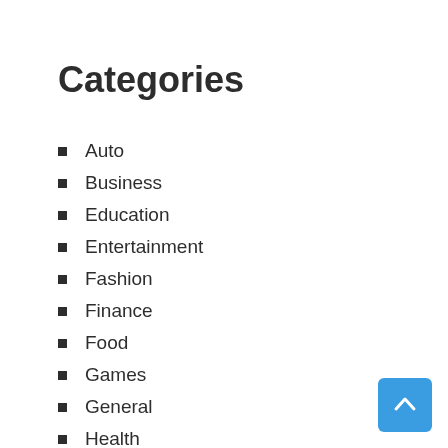Categories
Auto
Business
Education
Entertainment
Fashion
Finance
Food
Games
General
Health
Home
Law
Photography